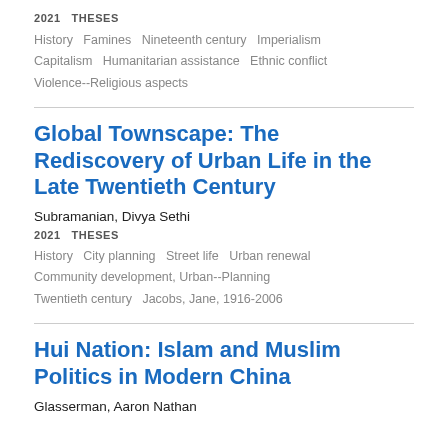2021   THESES
History   Famines   Nineteenth century   Imperialism   Capitalism   Humanitarian assistance   Ethnic conflict   Violence--Religious aspects
Global Townscape: The Rediscovery of Urban Life in the Late Twentieth Century
Subramanian, Divya Sethi
2021   THESES
History   City planning   Street life   Urban renewal   Community development, Urban--Planning   Twentieth century   Jacobs, Jane, 1916-2006
Hui Nation: Islam and Muslim Politics in Modern China
Glasserman, Aaron Nathan